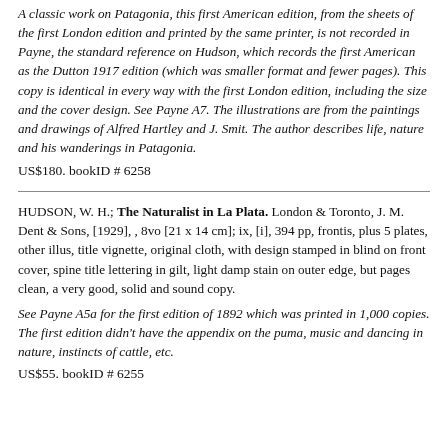A classic work on Patagonia, this first American edition, from the sheets of the first London edition and printed by the same printer, is not recorded in Payne, the standard reference on Hudson, which records the first American as the Dutton 1917 edition (which was smaller format and fewer pages). This copy is identical in every way with the first London edition, including the size and the cover design. See Payne A7. The illustrations are from the paintings and drawings of Alfred Hartley and J. Smit. The author describes life, nature and his wanderings in Patagonia.
US$180. bookID # 6258
HUDSON, W. H.; The Naturalist in La Plata. London & Toronto, J. M. Dent & Sons, [1929], , 8vo [21 x 14 cm]; ix, [i], 394 pp, frontis, plus 5 plates, other illus, title vignette, original cloth, with design stamped in blind on front cover, spine title lettering in gilt, light damp stain on outer edge, but pages clean, a very good, solid and sound copy.
See Payne A5a for the first edition of 1892 which was printed in 1,000 copies. The first edition didn't have the appendix on the puma, music and dancing in nature, instincts of cattle, etc.
US$55. bookID # 6255